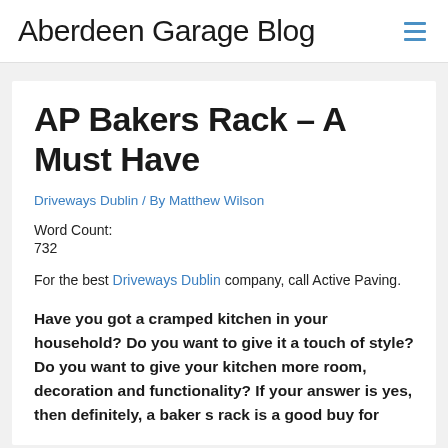Aberdeen Garage Blog
AP Bakers Rack – A Must Have
Driveways Dublin / By Matthew Wilson
Word Count:
732
For the best Driveways Dublin company, call Active Paving.
Have you got a cramped kitchen in your household? Do you want to give it a touch of style? Do you want to give your kitchen more room, decoration and functionality? If your answer is yes, then definitely, a baker s rack is a good buy for